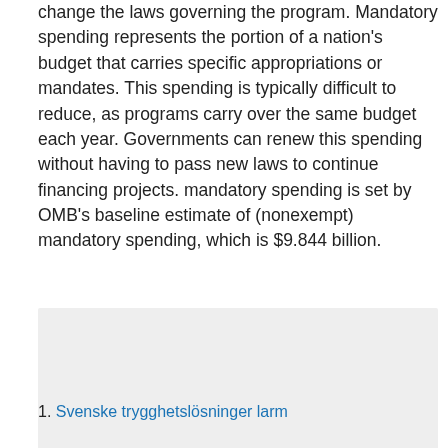change the laws governing the program. Mandatory spending represents the portion of a nation's budget that carries specific appropriations or mandates. This spending is typically difficult to reduce, as programs carry over the same budget each year. Governments can renew this spending without having to pass new laws to continue financing projects. mandatory spending is set by OMB's baseline estimate of (nonexempt) mandatory spending, which is $9.844 billion.
[Figure (other): Gray rectangular placeholder box]
1. Svenske trygghetslösninger larm